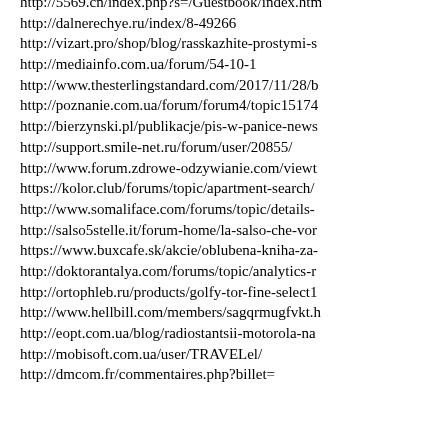http://5569.cn/index.php?s=/Guestbook/index.htm
http://dalnerechye.ru/index/8-49266
http://vizart.pro/shop/blog/rasskazhite-prostymi-s
http://mediainfo.com.ua/forum/54-10-1
http://www.thesterlingstandard.com/2017/11/28/b
http://poznanie.com.ua/forum/forum4/topic15174
http://bierzynski.pl/publikacje/pis-w-panice-news
http://support.smile-net.ru/forum/user/20855/
http://www.forum.zdrowe-odzywianie.com/viewt
https://kolor.club/forums/topic/apartment-search/
http://www.somaliface.com/forums/topic/details-
http://salso5stelle.it/forum-home/la-salso-che-vor
https://www.buxcafe.sk/akcie/oblubena-kniha-za-
http://doktorantalya.com/forums/topic/analytics-r
http://ortophleb.ru/products/golfy-tor-fine-select1
http://www.hellbill.com/members/sagqrmugfvkt.h
http://eopt.com.ua/blog/radiostantsii-motorola-na
http://mobisoft.com.ua/user/TRAVELel/
http://dmcom.fr/commentaires.php?billet=